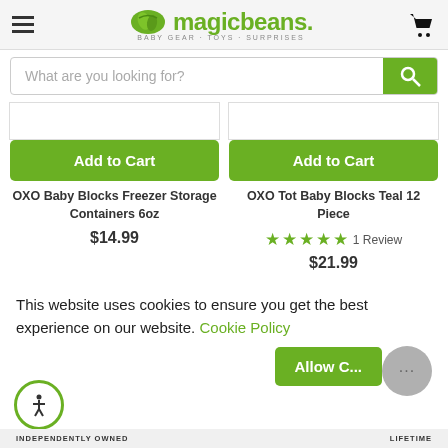magic beans — BABY GEAR · TOYS · SURPRISES
What are you looking for?
Add to Cart
OXO Baby Blocks Freezer Storage Containers 6oz
$14.99
Add to Cart
OXO Tot Baby Blocks Teal 12 Piece
1 Review
$21.99
This website uses cookies to ensure you get the best experience on our website. Cookie Policy
Allow C...
INDEPENDENTLY OWNED     LIFETIME